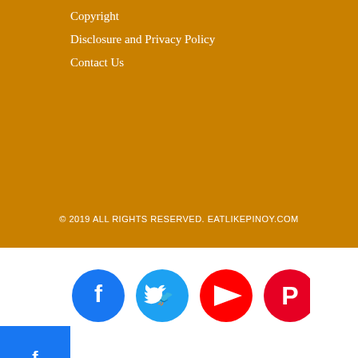Copyright
Disclosure and Privacy Policy
Contact Us
[Figure (infographic): Social share count showing 0 SHARES, with four social media icons: Facebook (blue circle), Twitter (light blue circle), YouTube (red circle), Pinterest (red circle)]
[Figure (infographic): Three side social share buttons: Facebook (blue), Twitter (light blue), Pinterest (red)]
© 2019 ALL RIGHTS RESERVED. EATLIKEPINOY.COM